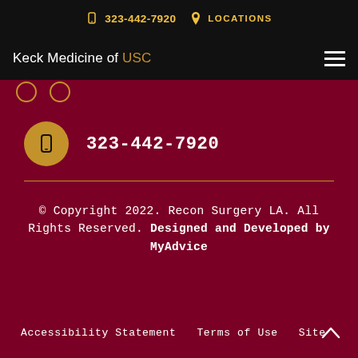323-442-7920   LOCATIONS
[Figure (logo): Keck Medicine of USC logo with hamburger menu icon]
323-442-7920
© Copyright 2022. Recon Surgery LA. All Rights Reserved. Designed and Developed by MyAdvice
Accessibility Statement   Terms of Use   Site